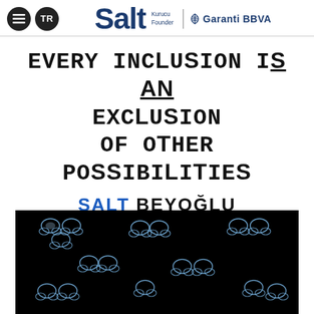Salt | Kurucu Founder | Garanti BBVA
EVERY INCLUSION IS AN EXCLUSION OF OTHER POSSIBILITIES
SALT BEYOĞLU
JUNE 9 – AUGUST 2, 2015
[Figure (photo): Dark/black background with multiple groups of glowing blue-white jellyfish-like or creature-like figures scattered across the frame]